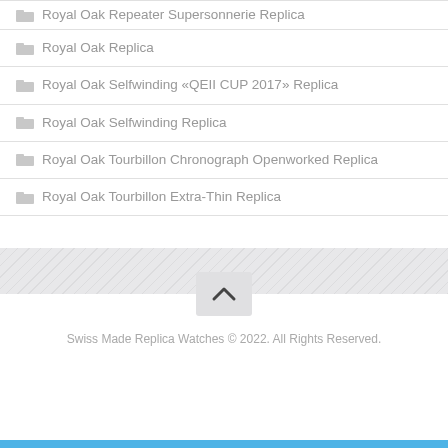Royal Oak Repeater Supersonnerie Replica
Royal Oak Replica
Royal Oak Selfwinding «QEII CUP 2017» Replica
Royal Oak Selfwinding Replica
Royal Oak Tourbillon Chronograph Openworked Replica
Royal Oak Tourbillon Extra-Thin Replica
Swiss Made Replica Watches © 2022. All Rights Reserved.